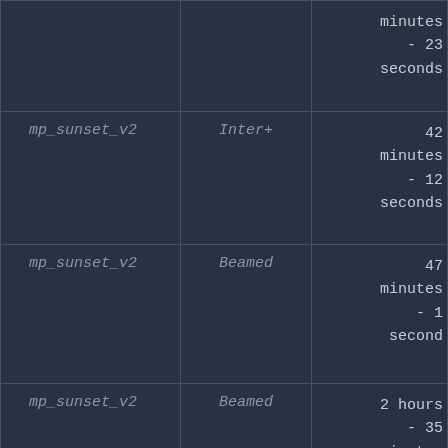| Map | Mode | Duration |
| --- | --- | --- |
|  |  | minutes
- 23
seconds |
| mp_sunset_v2 | Inter+ | 42 minutes
- 12
seconds |
| mp_sunset_v2 | Beamed | 47 minutes
- 1
second |
| mp_sunset_v2 | Beamed | 2 hours
- 35
minutes
- 12
seconds |